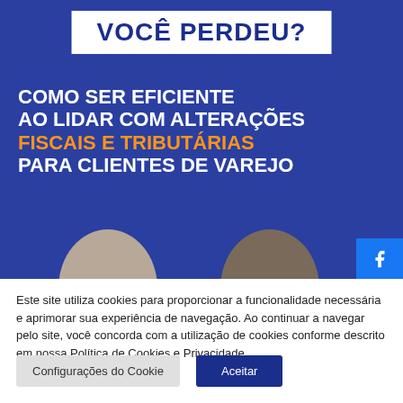[Figure (illustration): Blue promotional banner with 'VOCÊ PERDEU?' in white box at top, followed by white and orange bold text: 'COMO SER EFICIENTE AO LIDAR COM ALTERAÇÕES FISCAIS E TRIBUTÁRIAS PARA CLIENTES DE VAREJO', with two people's heads visible at the bottom. Social media icons (Facebook, Instagram, LinkedIn, Newsletter) on the right side.]
Este site utiliza cookies para proporcionar a funcionalidade necessária e aprimorar sua experiência de navegação. Ao continuar a navegar pelo site, você concorda com a utilização de cookies conforme descrito em nossa Política de Cookies e Privacidade
Configurações do Cookie
Aceitar